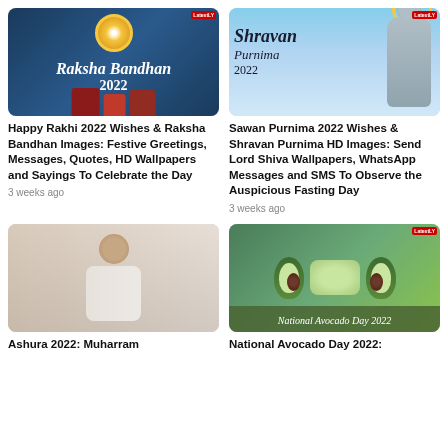[Figure (photo): Raksha Bandhan 2022 festive greeting card with rakhi and gifts on dark blue background]
[Figure (photo): Shravan Purnima 2022 greeting with Lord Shiva illustration on sky-blue background]
Happy Rakhi 2022 Wishes & Raksha Bandhan Images: Festive Greetings, Messages, Quotes, HD Wallpapers and Sayings To Celebrate the Day
3 weeks ago
Sawan Purnima 2022 Wishes & Shravan Purnima HD Images: Send Lord Shiva Wallpapers, WhatsApp Messages and SMS To Observe the Auspicious Fasting Day
3 weeks ago
[Figure (photo): KCR (K. Chandrashekar Rao) seated at a meeting table in white kurta]
[Figure (photo): National Avocado Day 2022 image showing avocados and guacamole with text overlay]
Ashura 2022: Muharram
National Avocado Day 2022: